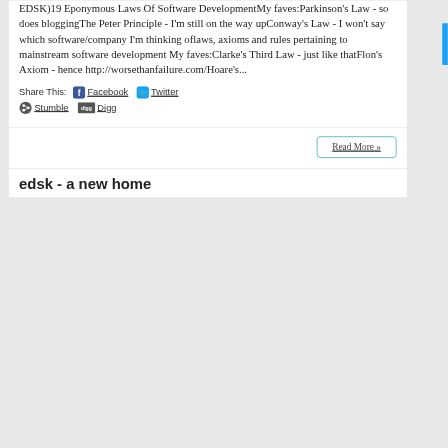EDSK)19 Eponymous Laws Of Software DevelopmentMy faves:Parkinson's Law - so does bloggingThe Peter Principle - I'm still on the way upConway's Law - I won't say which software/company I'm thinking oflaws, axioms and rules pertaining to mainstream software development My faves:Clarke's Third Law - just like thatFlon's Axiom - hence http://worsethanfailure.com/Hoare's...
Share This: Facebook Twitter Stumble Digg
Read More »
edsk - a new home